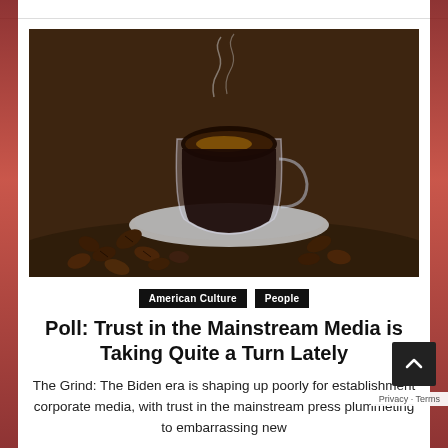[Figure (photo): A glass cup of black coffee on a saucer, surrounded by scattered coffee beans on a dark surface, with steam rising from the cup.]
American Culture
People
Poll: Trust in the Mainstream Media is Taking Quite a Turn Lately
The Grind: The Biden era is shaping up poorly for establishment corporate media, with trust in the mainstream press plummeting to embarrassing new